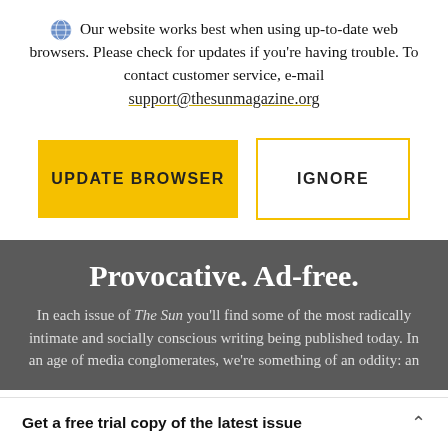Our website works best when using up-to-date web browsers. Please check for updates if you're having trouble. To contact customer service, e-mail support@thesunmagazine.org
[Figure (other): Two buttons: a yellow filled button labeled UPDATE BROWSER and a white button with yellow border labeled IGNORE]
Provocative. Ad-free.
In each issue of The Sun you'll find some of the most radically intimate and socially conscious writing being published today. In an age of media conglomerates, we're something of an oddity: an
Get a free trial copy of the latest issue